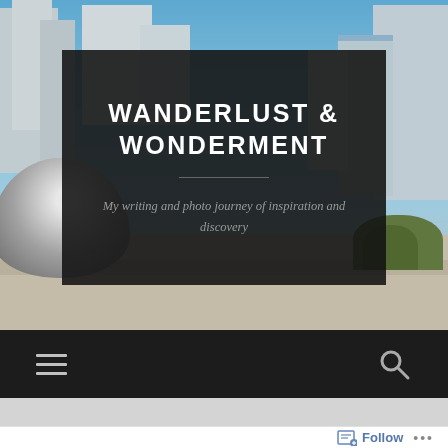[Figure (screenshot): Hero banner showing a city skyline with skyscrapers under a blue sky, a reflective silver bean sculpture on the left, and trees on the right. A dark semi-transparent overlay box contains the blog title and subtitle.]
WANDERLUST & WONDERMENT
My writing and photo journey of inspiration and discovery
[Figure (screenshot): Dark navigation bar with a hamburger menu icon on the left and a search (magnifying glass) icon on the right.]
[Figure (screenshot): Light gray bar below the navigation bar, then a white footer bar with a Follow button (chat/subscribe icon) and three dots menu on the right.]